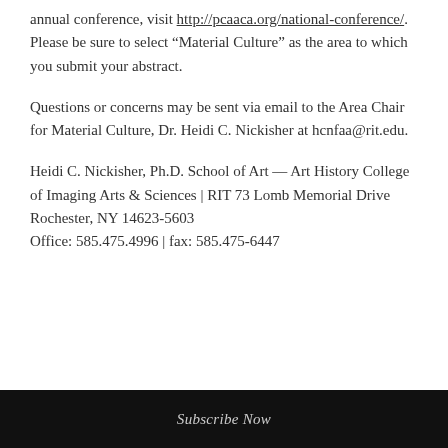annual conference, visit http://pcaaca.org/national-conference/. Please be sure to select “Material Culture” as the area to which you submit your abstract.
Questions or concerns may be sent via email to the Area Chair for Material Culture, Dr. Heidi C. Nickisher at hcnfaa@rit.edu.
Heidi C. Nickisher, Ph.D. School of Art — Art History College of Imaging Arts & Sciences | RIT 73 Lomb Memorial Drive
Rochester, NY 14623-5603
Office: 585.475.4996 | fax: 585.475-6447
Subscribe Now